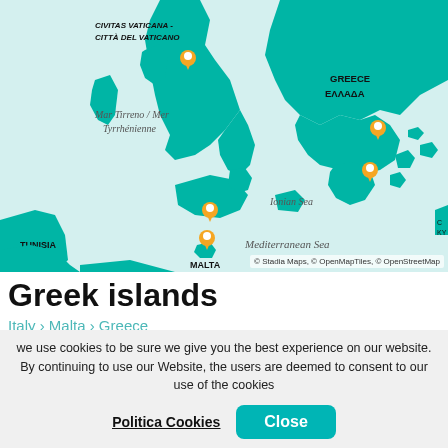[Figure (map): Mediterranean region map showing Italy, Malta, Greece, North Macedonia, Tunisia, Vatican City with orange location pins. Teal/turquoise land masses on light sea background. Labels include: CIVITAS VATICANA - CITTÀ DEL VATICANO, Mar Tirreno / Mer Tyrrhénienne, NORTH MACEDONIA / СЕВЕРНА МАКЕДОНИЈА, GREECE / ΕΛΛΑΔΑ, Ionian Sea, Mediterranean Sea, MALTA, TUNISIA. Attribution: © Stadia Maps, © OpenMapTiles, © OpenStreetMap]
Greek islands
Italy > Malta > Greece
we use cookies to be sure we give you the best experience on our website. By continuing to use our Website, the users are deemed to consent to our use of the cookies
Politica Cookies | Close